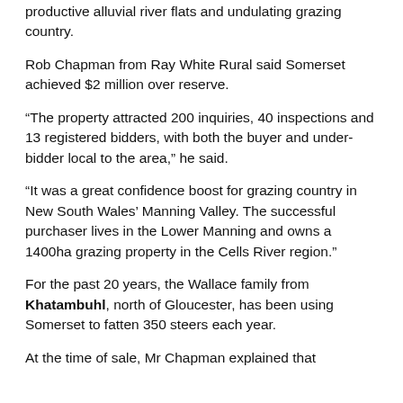productive alluvial river flats and undulating grazing country.
Rob Chapman from Ray White Rural said Somerset achieved $2 million over reserve.
“The property attracted 200 inquiries, 40 inspections and 13 registered bidders, with both the buyer and under-bidder local to the area,” he said.
“It was a great confidence boost for grazing country in New South Wales’ Manning Valley. The successful purchaser lives in the Lower Manning and owns a 1400ha grazing property in the Cells River region.”
For the past 20 years, the Wallace family from Khatambuhl, north of Gloucester, has been using Somerset to fatten 350 steers each year.
At the time of sale, Mr Chapman explained that